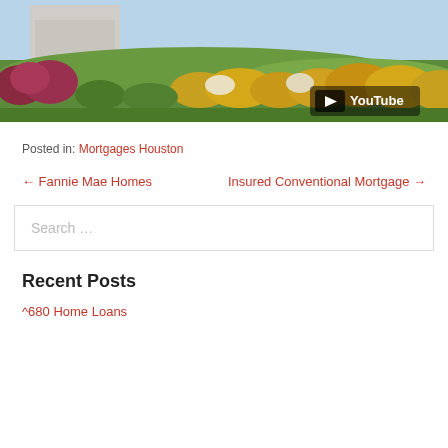[Figure (screenshot): YouTube video thumbnail showing a garden landscape with green lawn, colorful flowering bushes, and a building in the background. YouTube logo/play button visible in lower right corner.]
Posted in: Mortgages Houston
← Fannie Mae Homes    Insured Conventional Mortgage →
Search …
Recent Posts
^680 Home Loans